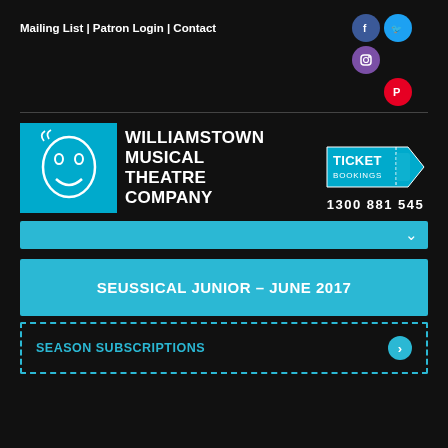Mailing List | Patron Login | Contact
[Figure (logo): Social media icons: Facebook (blue circle), Twitter (cyan circle), Instagram (purple circle), Pinterest (red circle)]
[Figure (logo): Williamstown Musical Theatre Company logo — cyan square with theatre mask illustration, white bold text: WILLIAMSTOWN MUSICAL THEATRE COMPANY]
[Figure (infographic): Ticket Bookings badge (cyan, arrow shape) with text TICKET BOOKINGS and phone number 1300 881 545 below]
[Figure (other): Cyan navigation dropdown bar with chevron arrow]
SEUSSICAL JUNIOR – JUNE 2017
SEASON SUBSCRIPTIONS